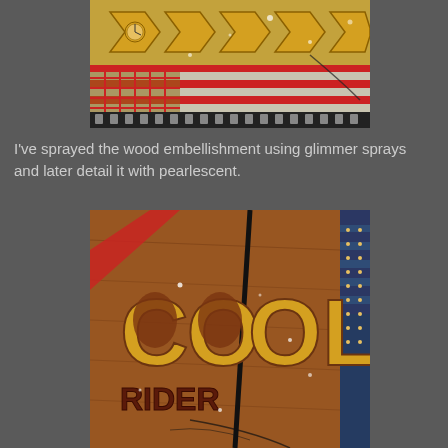[Figure (photo): Close-up photo of wood embellishments shaped as chevron arrows with a clock motif, showing red, white and blue patriotic scrapbook elements with water droplets or glimmer spray effects]
I've sprayed the wood embellishment using glimmer sprays and later detail it with pearlescent.
[Figure (photo): Close-up photo of wood embellishment spelling 'COOL RIDER' with large block letters on a brown wood background, surrounded by red, white and blue patriotic patterned scrapbook paper with glitter/pearlescent effects]